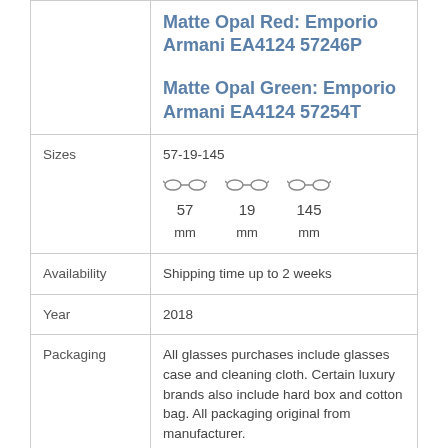|  |  |
| --- | --- |
|  | Matte Opal Red: Emporio Armani EA4124 57246P
Matte Opal Green: Emporio Armani EA4124 57254T |
| Sizes | 57-19-145
[diagram: 57mm / 19mm / 145mm] |
| Availability | Shipping time up to 2 weeks |
| Year | 2018 |
| Packaging | All glasses purchases include glasses case and cleaning cloth. Certain luxury brands also include hard box and cotton bag. All packaging original from manufacturer. |